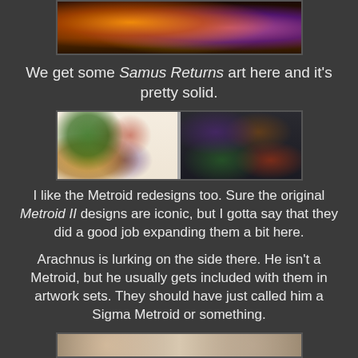[Figure (photo): A book or steelbook open showing Metroid Samus Returns artwork with fire and explosion imagery on a textured surface]
We get some Samus Returns art here and it's pretty solid.
[Figure (photo): An open book/art book showing Metroid creature redesigns including various Metroid life cycle forms and Arachnus on both pages, placed on a textured surface]
I like the Metroid redesigns too. Sure the original Metroid II designs are iconic, but I gotta say that they did a good job expanding them a bit here.
Arachnus is lurking on the side there. He isn't a Metroid, but he usually gets included with them in artwork sets. They should have just called him a Sigma Metroid or something.
[Figure (photo): Partial view of another photo on a textured surface, partially cropped at the bottom of the page]